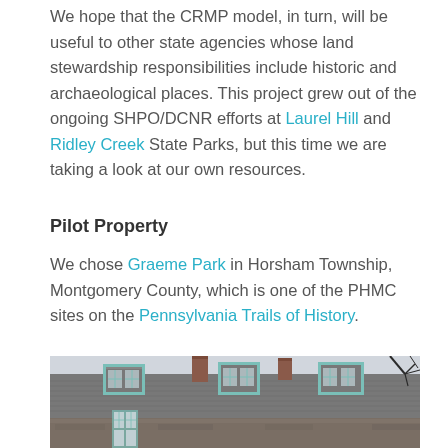We hope that the CRMP model, in turn, will be useful to other state agencies whose land stewardship responsibilities include historic and archaeological places. This project grew out of the ongoing SHPO/DCNR efforts at Laurel Hill and Ridley Creek State Parks, but this time we are taking a look at our own resources.
Pilot Property
We chose Graeme Park in Horsham Township, Montgomery County, which is one of the PHMC sites on the Pennsylvania Trails of History.
[Figure (photo): Photograph of a historic stone building with a gambrel/mansard-style slate roof, teal/green-trimmed dormer windows, chimneys, and bare tree branches visible against an overcast sky. The building appears to be Graeme Park.]